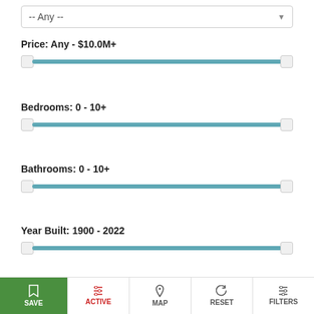-- Any --
Price: Any - $10.0M+
Bedrooms: 0 - 10+
Bathrooms: 0 - 10+
Year Built: 1900 - 2022
Sq. Feet: 0 - 10,000+
SAVE  ACTIVE  MAP  RESET  FILTERS